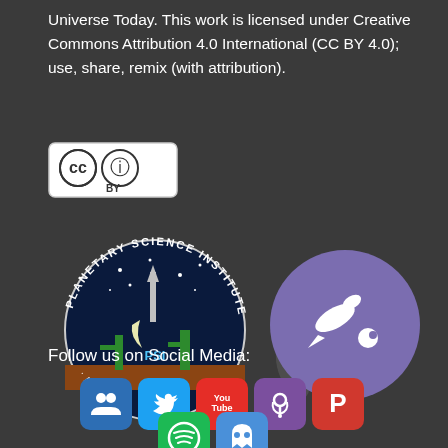Universe Today. This work is licensed under Creative Commons Attribution 4.0 International (CC BY 4.0); use, share, remix (with attribution).
[Figure (logo): Creative Commons CC BY license badge — circle with CC symbol and person info symbol, 'BY' text below, inside a white rounded rectangle with black border]
[Figure (logo): Planetary Science Institute circular logo (dark blue, star field, rocket, cactus, 'EST. 1972') alongside a purple circle with a rocket/comet icon and a dark curved swoosh element]
Follow us on Social Media:
[Figure (infographic): Row of social media icon buttons: dark blue group/people icon, light blue Twitter bird, red YouTube, purple podcast/radio, red-dark Patreon P; second row: green Spotify, blue ghost icon]